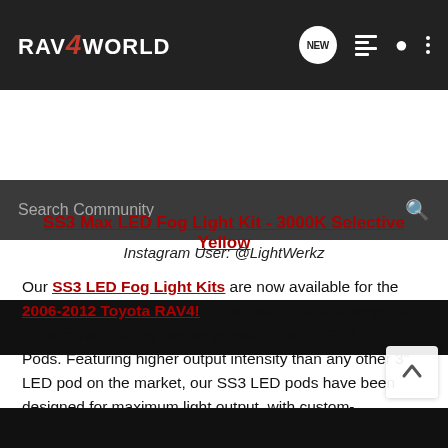RAV4WORLD
Search Community
[Figure (photo): Dark image strip at top of content area]
SS3 Max LED Fog Light Kit - 3000K Selective Yellow
Instagram User: @LightWerkz
Our SS3 LED Fog Light Kits are now available for the 2006-2012 Toyota RAV4! These bolt-on kits allow you to replace your factory fog lamps with a pair of SS3 LED Pods. Featuring higher output intensity than any other 3" LED pod on the market, our SS3 LED pods have been designed for maximum light output, with custom-engineered TIR optics shining in highly functional beam patterns, all in a compact, durable package.
[Figure (photo): Dark image strip at bottom of page]